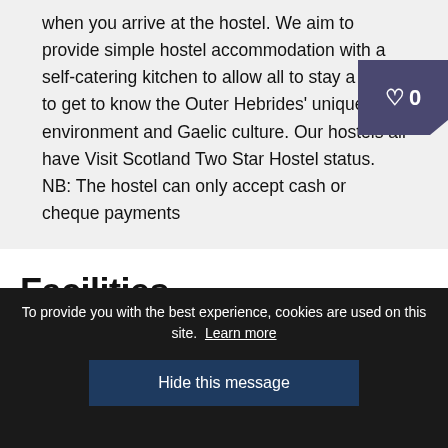when you arrive at the hostel. We aim to provide simple hostel accommodation with a self-catering kitchen to allow all to stay a while to get to know the Outer Hebrides' unique environment and Gaelic culture. Our hostels all have Visit Scotland Two Star Hostel status.
NB: The hostel can only accept cash or cheque payments
Facilities
To provide you with the best experience, cookies are used on this site. Learn more
Hide this message